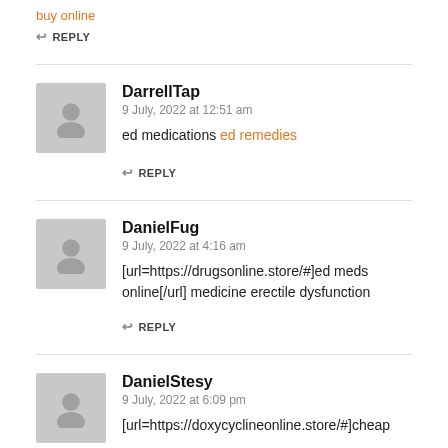buy online
↩ REPLY
DarrellTap
9 July, 2022 at 12:51 am
ed medications ed remedies
↩ REPLY
DanielFug
9 July, 2022 at 4:16 am
[url=https://drugsonline.store/#]ed meds online[/url] medicine erectile dysfunction
↩ REPLY
DanielStesy
9 July, 2022 at 6:09 pm
[url=https://doxycyclineonline.store/#]cheap...